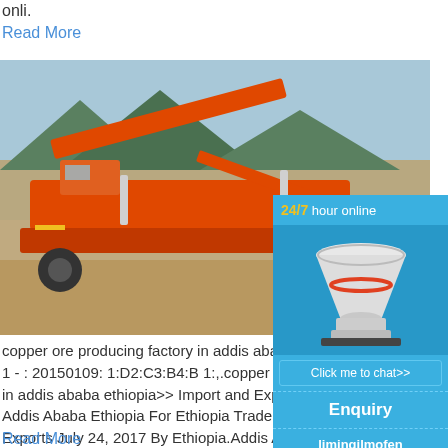onli.
Read More
[Figure (photo): Orange mobile crushing/screening machinery at an open quarry site with mountains in background]
copper ore producing factory in addis ababa ethio 1 - : 20150109: 1:D2:C3:B4:B 1:,.copper or y in addis ababa ethiopia>> Import and Expo Addis Ababa Ethiopia For Ethiopia Trade E Exports July 24, 2017 By Ethiopia.Addis Ab MUZEIN Phone +251 11 2761338 Mobile +
Read More
[Figure (photo): Industrial quarry or mining facility with conveyors and structures, hazy background]
[Figure (infographic): Sidebar ad: 24/7 hour online, cone crusher machine image, Click me to chat>> button, Enquiry section, limingjlmofen text]